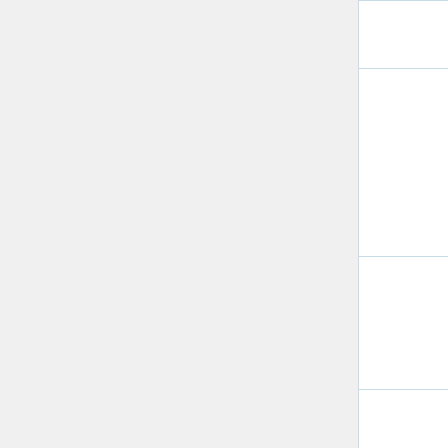|  | Date/Time | Thumbnail |
| --- | --- | --- |
|  |  |  |
|  | 10:35, 10 September 2021 | Con... |
|  | 10:30, 10 September 2021 | Con... |
|  | 10:30, 6 September 2021 | Con... |